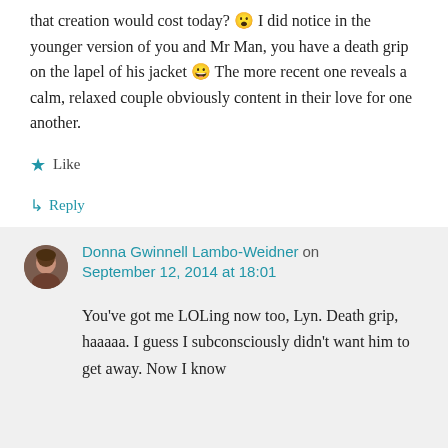that creation would cost today? 😮 I did notice in the younger version of you and Mr Man, you have a death grip on the lapel of his jacket 😀 The more recent one reveals a calm, relaxed couple obviously content in their love for one another.
★ Like
↳ Reply
Donna Gwinnell Lambo-Weidner on September 12, 2014 at 18:01
You've got me LOLing now too, Lyn. Death grip, haaaaa. I guess I subconsciously didn't want him to get away. Now I know